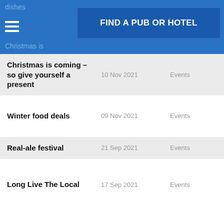dishes | FIND A PUB OR HOTEL | Christmas is
Christmas is coming – so give yourself a present | 10 Nov 2021 | Events
Winter food deals | 09 Nov 2021 | Events
Real-ale festival | 21 Sep 2021 | Events
Long Live The Local | 17 Sep 2021 | Events
Wetherspoon News Autumn 2021 | 17 Sep 2021 | Wetherspoons news
Wetherspoon has been